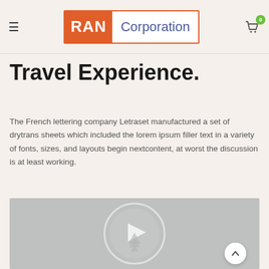RAN Corporation
Travel Experience.
The French lettering company Letraset manufactured a set of drytrans sheets which included the lorem ipsum filler text in a variety of fonts, sizes, and layouts begin nextcontent, at worst the discussion is at least working.
[Figure (screenshot): Video player placeholder with a gray background and a centered play button (triangle inside a circle) with a tree/landscape icon overlay]